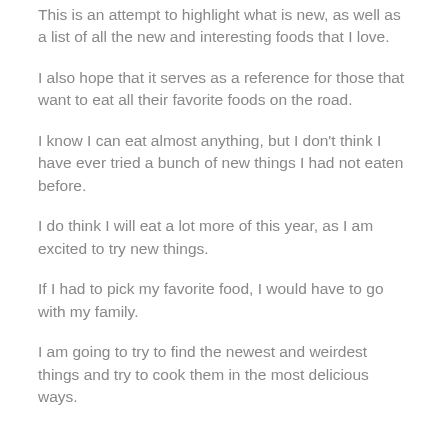This is an attempt to highlight what is new, as well as a list of all the new and interesting foods that I love.
I also hope that it serves as a reference for those that want to eat all their favorite foods on the road.
I know I can eat almost anything, but I don't think I have ever tried a bunch of new things I had not eaten before.
I do think I will eat a lot more of this year, as I am excited to try new things.
If I had to pick my favorite food, I would have to go with my family.
I am going to try to find the newest and weirdest things and try to cook them in the most delicious ways.